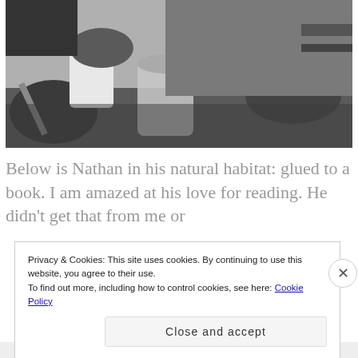[Figure (photo): Black and white photograph of a child sitting at a table with drinks and bowls, wearing a soccer jersey, arms resting on table.]
Below is Nathan in his natural habitat: glued to a book. I am amazed at his love for reading. He didn't get that from me or
Privacy & Cookies: This site uses cookies. By continuing to use this website, you agree to their use.
To find out more, including how to control cookies, see here: Cookie Policy